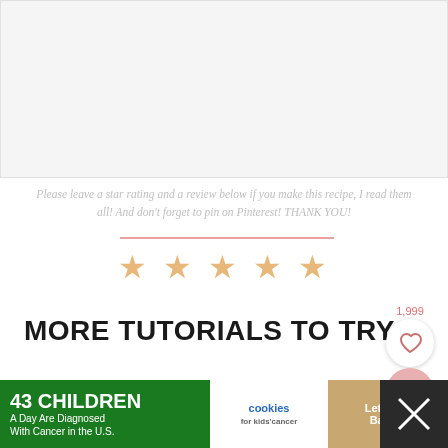[Figure (other): Gray placeholder box for an embedded image or video]
Please leave a star rating and a review below if you make this recipe, I read them all! And don't forget to pin on Pinterest! THANK YOU!
[Figure (other): Five star rating icons in gold/orange color]
MORE TUTORIALS TO TRY:
How to Make a Pull Apart Cupcake Cake
How to Build an Epic Cheeseboard
[Figure (infographic): Advertisement banner: 43 CHILDREN A Day Are Diagnosed With Cancer in the U.S. — cookies for kids' cancer — Let's Get Baking]